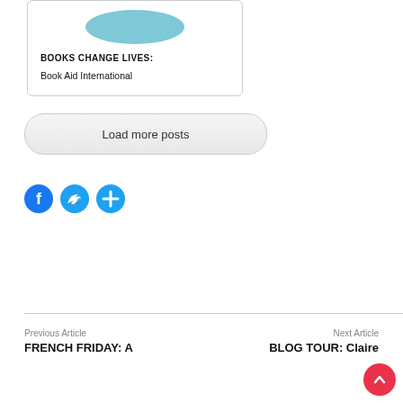[Figure (other): Card with circular teal/blue logo image at top, text BOOKS CHANGE LIVES: and Book Aid International]
BOOKS CHANGE LIVES:
Book Aid International
Load more posts
[Figure (other): Social share icons: Facebook (blue), Twitter (blue), Plus/share (blue circle)]
Previous Article
FRENCH FRIDAY: A
Next Article
BLOG TOUR: Claire